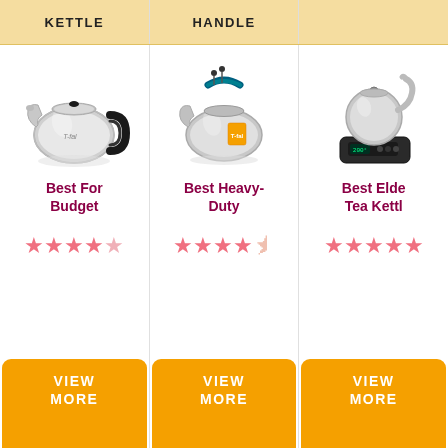KETTLE
HANDLE
[Figure (photo): Stainless steel stovetop whistling tea kettle with black handle - T-fal brand]
Best For Budget
[Figure (other): 5 star rating (5 out of 5 stars in pink/salmon color)]
VIEW MORE
[Figure (photo): Stainless steel heavy-duty tea kettle with blue/green handle and orange price tag]
Best Heavy-Duty
[Figure (other): 4.5 star rating (4.5 out of 5 stars in pink/salmon color)]
VIEW MORE
[Figure (photo): Electric gooseneck kettle with digital temperature control base - stainless steel]
Best Elder Tea Kettle
[Figure (other): 4 star rating (4 out of 5 stars in pink/salmon color)]
VIEW MORE